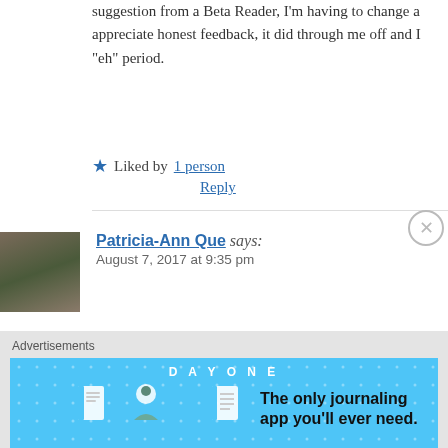suggestion from a Beta Reader, I’m having to change a appreciate honest feedback, it did through me off and I “eh” period.
★ Liked by 1 person
Reply
Patricia-Ann Que says:
August 7, 2017 at 9:35 pm
i always visualize and picture myself reaching my goal
★ Liked by 1 person
Reply
Advertisements
[Figure (infographic): Day One journaling app advertisement banner with blue background and dot pattern. Shows 'DAY ONE' text at top, icons of a journal, person, and notebook, with text 'The only journaling app you’ll ever need.']